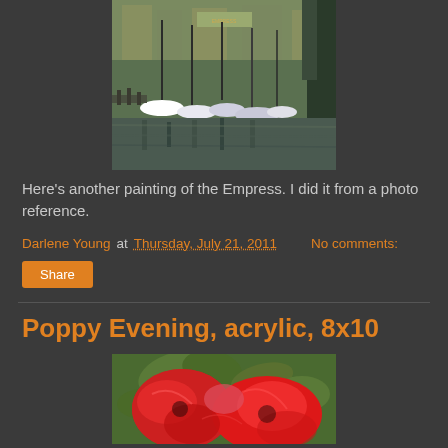[Figure (photo): Painting of a harbor scene with sailboats, masts, and reflections in the water, buildings visible in the background, colorful expressionistic style]
Here's another painting of the Empress. I did it from a photo reference.
Darlene Young at Thursday, July 21, 2011   No comments:
Share
Poppy Evening, acrylic, 8x10
[Figure (photo): Close-up painting of red poppies with green leaves and stems, vibrant red and pink tones, acrylic painting style]